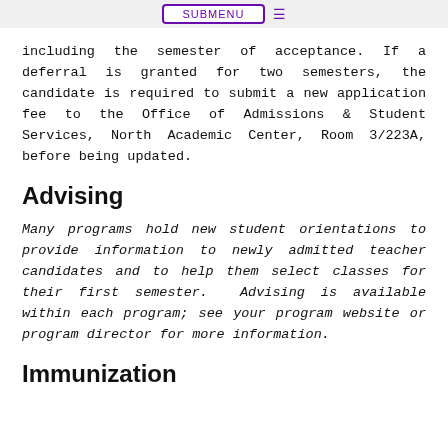SUBMENU ≡
including the semester of acceptance. If a deferral is granted for two semesters, the candidate is required to submit a new application fee to the Office of Admissions & Student Services, North Academic Center, Room 3/223A, before being updated.
Advising
Many programs hold new student orientations to provide information to newly admitted teacher candidates and to help them select classes for their first semester.  Advising is available within each program; see your program website or program director for more information.
Immunization